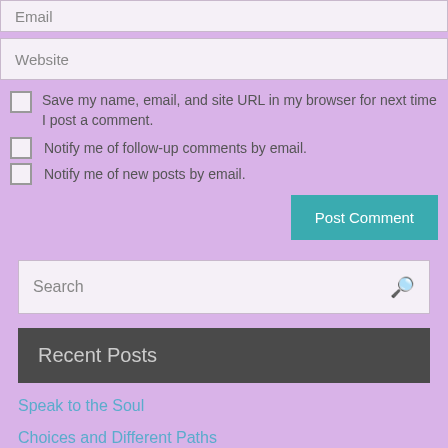Email
Website
Save my name, email, and site URL in my browser for next time I post a comment.
Notify me of follow-up comments by email.
Notify me of new posts by email.
Post Comment
Search
Recent Posts
Speak to the Soul
Choices and Different Paths